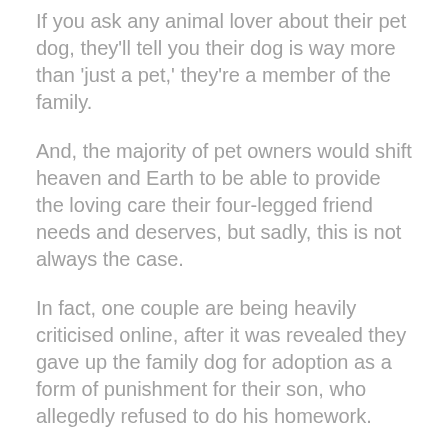If you ask any animal lover about their pet dog, they'll tell you their dog is way more than 'just a pet,' they're a member of the family.
And, the majority of pet owners would shift heaven and Earth to be able to provide the loving care their four-legged friend needs and deserves, but sadly, this is not always the case.
In fact, one couple are being heavily criticised online, after it was revealed they gave up the family dog for adoption as a form of punishment for their son, who allegedly refused to do his homework.